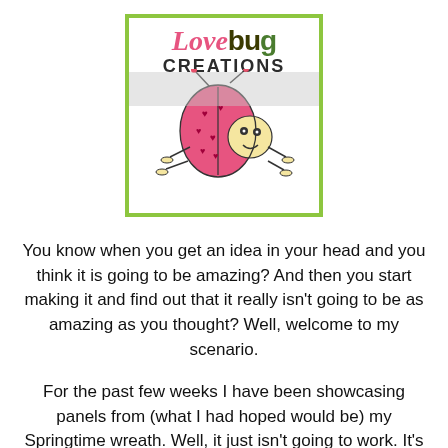[Figure (logo): Lovebug Creations logo: pink cursive 'Love' and bold dark 'bug' text with green 'g', 'CREATIONS' in uppercase below, with a cartoon ladybug with heart patterns on its back]
You know when you get an idea in your head and you think it is going to be amazing? And then you start making it and find out that it really isn't going to be as amazing as you thought? Well, welcome to my scenario.
For the past few weeks I have been showcasing panels from (what I had hoped would be) my Springtime wreath. Well, it just isn't going to work. It's not coming together the way I intended and I am beyond frustrated. LOL!
So on to plan B.
A Spring time Banner!! YAY!